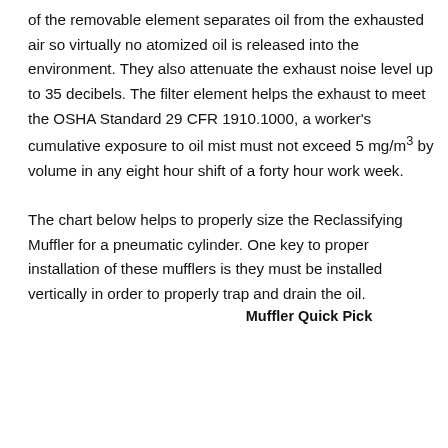of the removable element separates oil from the exhausted air so virtually no atomized oil is released into the environment. They also attenuate the exhaust noise level up to 35 decibels. The filter element helps the exhaust to meet the OSHA Standard 29 CFR 1910.1000, a worker's cumulative exposure to oil mist must not exceed 5 mg/m³ by volume in any eight hour shift of a forty hour work week.

The chart below helps to properly size the Reclassifying Muffler for a pneumatic cylinder. One key to proper installation of these mufflers is they must be installed vertically in order to properly trap and drain the oil.
Muffler Quick Pick
Model 9070
Model 9071
Model 9072
Model 9073
| Bore (in.) | 3 | 6 | 9 | 12 | 18 | 24 | 30 | 36 | 42 | 48 |
| --- | --- | --- | --- | --- | --- | --- | --- | --- | --- | --- |
| 0.5 |  |  |  |  |  |  |  |  |  |  |
| 1.0 |  |  |  |  |  |  |  |  |  |  |
| 1.5 |  |  |  |  |  |  |  |  |  |  |